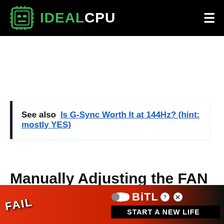IDEALCPU
See also  Is G-Sync Worth It at 144Hz? (hint: mostly YES)
Manually Adjusting the FAN RPM
If you are installing a CPU fan from another brand, chances are that your Asus mo... aft... fix
[Figure (screenshot): BitLife advertisement banner at bottom of page with 'FAIL' text, animated character, fire, and 'START A NEW LIFE' call to action]